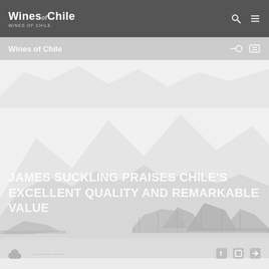Wines of Chile
[Figure (screenshot): Website screenshot of Wines of Chile homepage featuring a mountain skyline illustration in light grey tones with navigation bar at top]
JAMES SUCKLING PRAISES CHILE'S EXCELLENT QUALITY AND REMARKABLE VALUE
Footer with social media and sharing icons